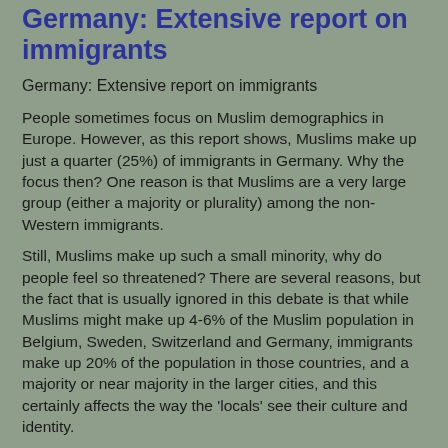Germany: Extensive report on immigrants
Germany: Extensive report on immigrants
People sometimes focus on Muslim demographics in Europe. However, as this report shows, Muslims make up just a quarter (25%) of immigrants in Germany. Why the focus then? One reason is that Muslims are a very large group (either a majority or plurality) among the non-Western immigrants.
Still, Muslims make up such a small minority, why do people feel so threatened? There are several reasons, but the fact that is usually ignored in this debate is that while Muslims might make up 4-6% of the Muslim population in Belgium, Sweden, Switzerland and Germany, immigrants make up 20% of the population in those countries, and a majority or near majority in the larger cities, and this certainly affects the way the 'locals' see their culture and identity.